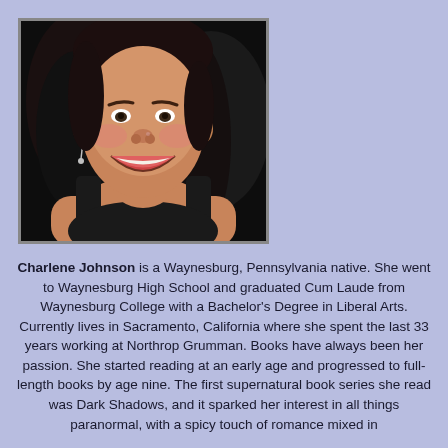[Figure (photo): Portrait photo of Charlene Johnson, a smiling woman with dark hair, wearing a black top and pearl necklace, photographed against a dark background.]
Charlene Johnson is a Waynesburg, Pennsylvania native. She went to Waynesburg High School and graduated Cum Laude from Waynesburg College with a Bachelor's Degree in Liberal Arts. Currently lives in Sacramento, California where she spent the last 33 years working at Northrop Grumman. Books have always been her passion. She started reading at an early age and progressed to full-length books by age nine. The first supernatural book series she read was Dark Shadows, and it sparked her interest in all things paranormal, with a spicy touch of romance mixed in